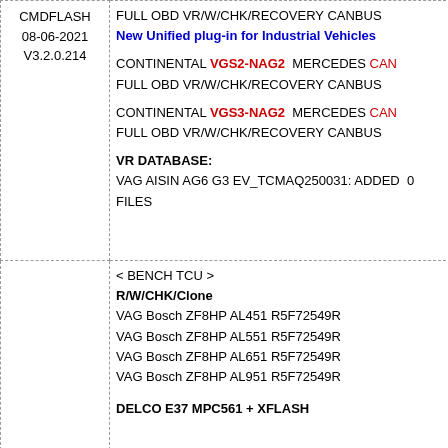FULL OBD VR/W/CHK/RECOVERY CANBUS
New Unified plug-in for Industrial Vehicles
CMDFLASH
08-06-2021
V3.2.0.214
CONTINENTAL VGS2-NAG2 MERCEDES CAN
FULL OBD VR/W/CHK/RECOVERY CANBUS

CONTINENTAL VGS3-NAG2 MERCEDES CAN
FULL OBD VR/W/CHK/RECOVERY CANBUS

VR DATABASE:
VAG AISIN AG6 G3 EV_TCMAQ250031: ADDED 0 FILES
< BENCH TCU >
R/W/CHK/Clone
VAG Bosch ZF8HP AL451 R5F72549R
VAG Bosch ZF8HP AL551 R5F72549R
VAG Bosch ZF8HP AL651 R5F72549R
VAG Bosch ZF8HP AL951 R5F72549R

DELCO E37 MPC561 + XFLASH